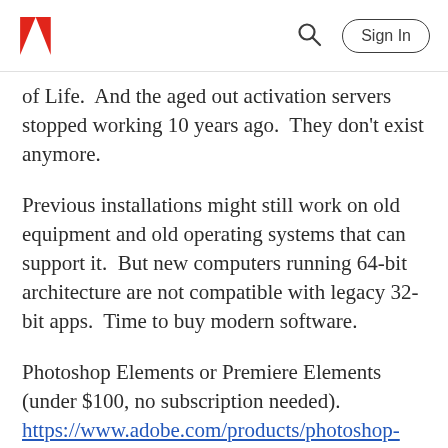Adobe logo | Search | Sign In
of Life.  And the aged out activation servers stopped working 10 years ago.  They don't exist anymore.
Previous installations might still work on old equipment and old operating systems that can support it.  But new computers running 64-bit architecture are not compatible with legacy 32-bit apps.  Time to buy modern software.
Photoshop Elements or Premiere Elements (under $100, no subscription needed).
https://www.adobe.com/products/photoshop-elements.html